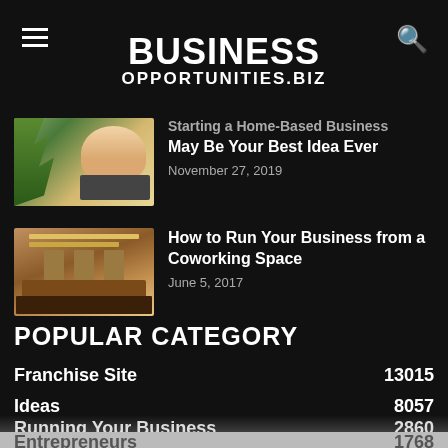BUSINESS OPPORTUNITIES.BIZ
Starting a Home-Based Business May Be Your Best Idea Ever
November 27, 2019
How to Run Your Business from a Coworking Space
June 5, 2017
POPULAR CATEGORY
Franchise Site 13015
Ideas 8057
Running Your Business 2860
Entrepreneurs 1768
Opportunity 1699